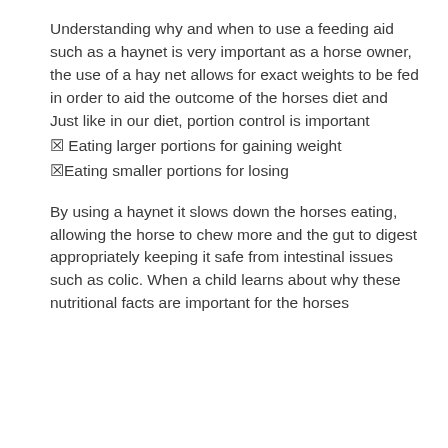Understanding why and when to use a feeding aid such as a haynet is very important as a horse owner, the use of a hay net allows for exact weights to be fed in order to aid the outcome of the horses diet and Just like in our diet, portion control is important
⊠ Eating larger portions for gaining weight
⊠Eating smaller portions for losing
By using a haynet it slows down the horses eating, allowing the horse to chew more and the gut to digest appropriately keeping it safe from intestinal issues such as colic. When a child learns about why these nutritional facts are important for the horses